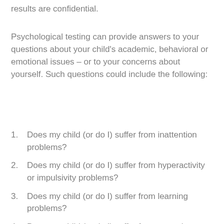results are confidential.
Psychological testing can provide answers to your questions about your child’s academic, behavioral or emotional issues – or to your concerns about yourself. Such questions could include the following:
Does my child (or do I) suffer from inattention problems?
Does my child (or do I) suffer from hyperactivity or impulsivity problems?
Does my child (or do I) suffer from learning problems?
Does my child (or do I) suffer from an autism